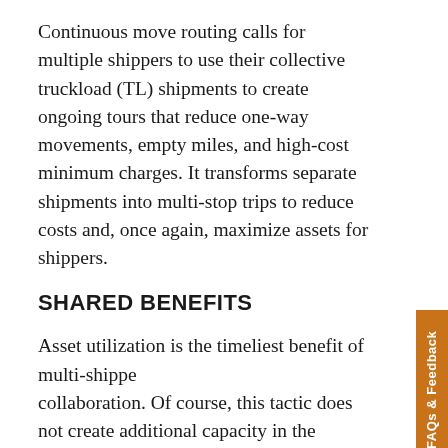Continuous move routing calls for multiple shippers to use their collective truckload (TL) shipments to create ongoing tours that reduce one-way movements, empty miles, and high-cost minimum charges. It transforms separate shipments into multi-stop trips to reduce costs and, once again, maximize assets for shippers.
SHARED BENEFITS
Asset utilization is the timeliest benefit of multi-shipper collaboration. Of course, this tactic does not create additional capacity in the marketplace, but it does enable shippers to increase capacity within their core carrier bases. Most importantly, these tactics maximize motor asset utilization for the collective benefit of all shippers.
Shippers, however, are not the only beneficiaries. Carriers, drivers, and consignees are also impacted by